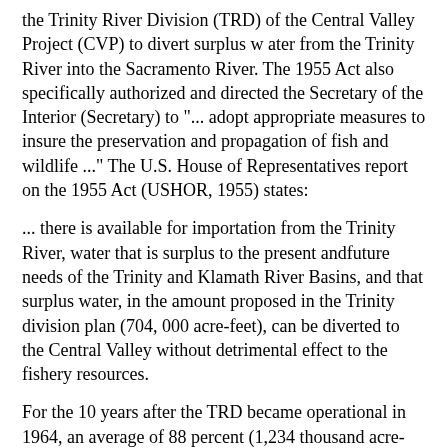the Trinity River Division (TRD) of the Central Valley Project (CVP) to divert surplus w ater from the Trinity River into the Sacramento River. The 1955 Act also specifically authorized and directed the Secretary of the Interior (Secretary) to "... adopt appropriate measures to insure the preservation and propagation of fish and wildlife ..." The U.S. House of Representatives report on the 1955 Act (USHOR, 1955) states:
... there is available for importation from the Trinity River, water that is surplus to the present andfuture needs of the Trinity and Klamath River Basins, and that surplus water, in the amount proposed in the Trinity division plan (704, 000 acre-feet), can be diverted to the Central Valley without detrimental effect to the fishery resources.
For the 10 years after the TRD became operational in 1964, an average of 88 percent (1,234 thousand acre-feet (TAF)) of the annual inflow was diverted into the Sacramento River Basin, with releases to the Trinity River ranging from 150 to 250 cubic feet per second (cfs) and a total annual instream volume of 129.5 TAF.